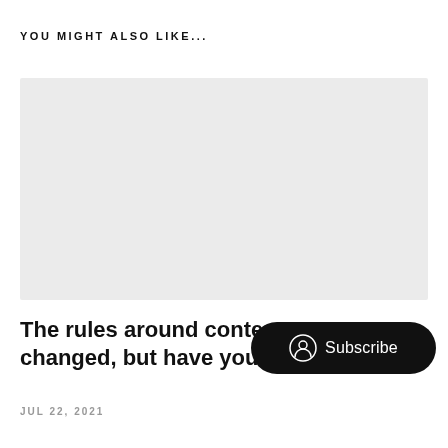YOU MIGHT ALSO LIKE...
[Figure (other): Gray placeholder image rectangle]
The rules around content a changed, but have you?
JUL 22, 2021